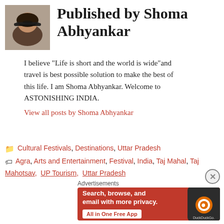[Figure (photo): Profile photo of Shoma Abhyankar – woman wearing sunglasses]
Published by Shoma Abhyankar
I believe "Life is short and the world is wide"and travel is best possible solution to make the best of this life. I am Shoma Abhyankar. Welcome to ASTONISHING INDIA.
View all posts by Shoma Abhyankar
Cultural Festivals, Destinations, Uttar Pradesh
Agra, Arts and Entertainment, Festival, India, Taj Mahal, Taj Mahotsav, UP Tourism, Uttar Pradesh
[Figure (screenshot): DuckDuckGo advertisement: Search, browse, and email with more privacy. All in One Free App.]